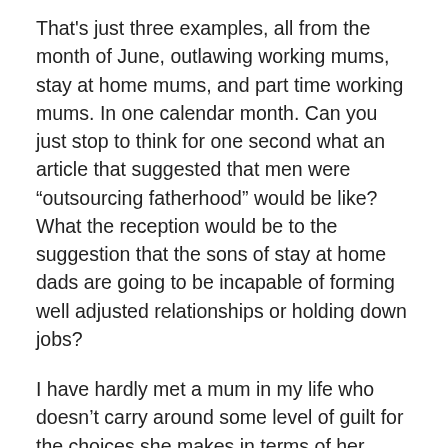That's just three examples, all from the month of June, outlawing working mums, stay at home mums, and part time working mums. In one calendar month. Can you just stop to think for one second what an article that suggested that men were “outsourcing fatherhood” would be like? What the reception would be to the suggestion that the sons of stay at home dads are going to be incapable of forming well adjusted relationships or holding down jobs?
I have hardly met a mum in my life who doesn’t carry around some level of guilt for the choices she makes in terms of her career and kids. The ridiculous thing is, it’s clearly a completely personal decision, based on your finances, your family planning, your own goals, or simply how much you enjoy both your job and being with your kids all day! And yet so many incredible